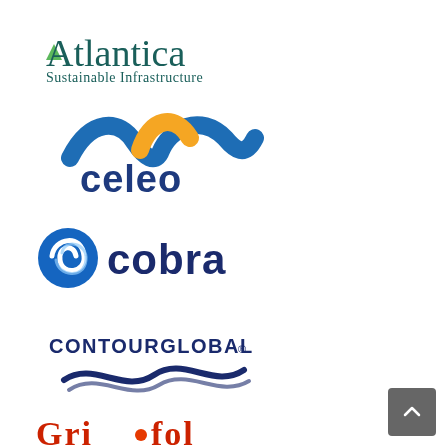[Figure (logo): Atlantica Sustainable Infrastructure logo — dark teal text with a small green triangle above the 'A']
[Figure (logo): Celeo logo — blue and orange wavy swoosh above the word 'celeo' in dark blue lowercase]
[Figure (logo): Cobra logo — blue circular swirl icon next to the word 'cobra' in dark navy bold text]
[Figure (logo): ContourGlobal logo — text 'CONTOUR GLOBAL' with registered trademark and blue wave swoosh beneath]
[Figure (logo): Partially visible logo at bottom of page in red/orange text, cut off]